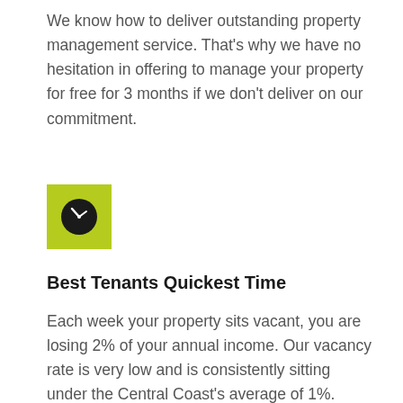We know how to deliver outstanding property management service. That's why we have no hesitation in offering to manage your property for free for 3 months if we don't deliver on our commitment.
[Figure (illustration): Yellow-green square with a dark circular clock icon in the center]
Best Tenants Quickest Time
Each week your property sits vacant, you are losing 2% of your annual income. Our vacancy rate is very low and is consistently sitting under the Central Coast's average of 1%.